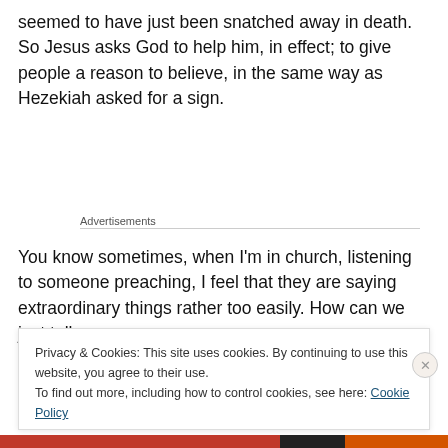seemed to have just been snatched away in death. So Jesus asks God to help him, in effect; to give people a reason to believe, in the same way as Hezekiah asked for a sign.
Advertisements
You know sometimes, when I'm in church, listening to someone preaching, I feel that they are saying extraordinary things rather too easily. How can we just talk
Privacy & Cookies: This site uses cookies. By continuing to use this website, you agree to their use.
To find out more, including how to control cookies, see here: Cookie Policy
Close and accept